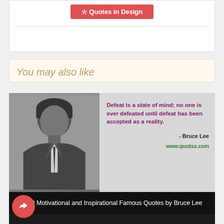[Figure (screenshot): Red button with text 'Quotes in Design' at top of a white card with a horizontal divider line below]
You may also like
[Figure (photo): Black and white photo of Bruce Lee with quote: 'Defeat is a state of mind; no one is ever defeated until defeat has been accepted as a reality.' - Bruce Lee. www.quotss.com]
Top 10 Motivational and Inspirational Famous Quotes by Bruce Lee